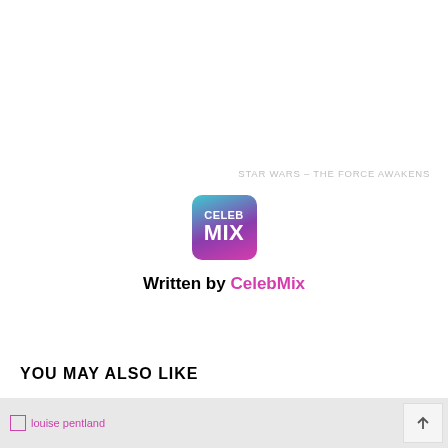STAR WARS – THE FORCE AWAKENS
[Figure (logo): CelebMix logo — rounded square with gradient background (teal to purple to pink), white text CELEB on top line and MIX larger below]
Written by CelebMix
YOU MAY ALSO LIKE
[Figure (photo): Broken image placeholder labeled 'louise pentland' on grey background]